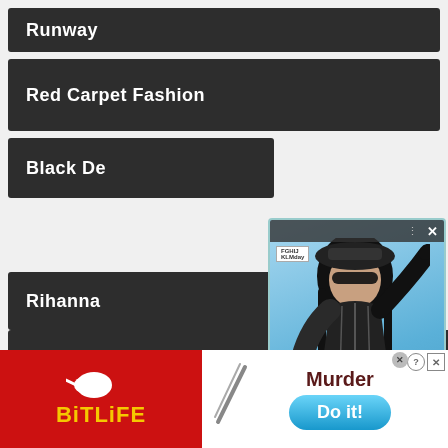Runway
Red Carpet Fashion
Black De
Rihanna
[Figure (photo): Popup showing a woman in a black leather corset outfit with gloves and a cap, posing against a blue background. Popup has toolbar with dots menu and X close button, a logo watermark, and a right-arrow navigation button.]
Street Style
[Figure (screenshot): BitLife game advertisement on red background with yellow BitLife logo and sperm icon]
[Figure (screenshot): Mobile game advertisement showing 'Murder Do it!' with a knife icon and blue Do it! button, with close X button]